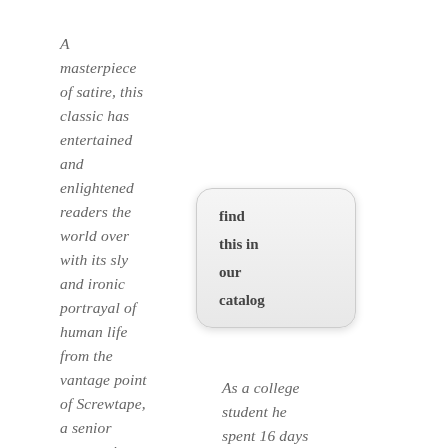A masterpiece of satire, this classic has entertained and enlightened readers the world over with its sly and ironic portrayal of human life from the vantage point of Screwtape, a senior tempter in
[Figure (other): A rounded rectangle box with gradient background containing bold text: 'find this in our catalog']
As a college student he spent 16 days